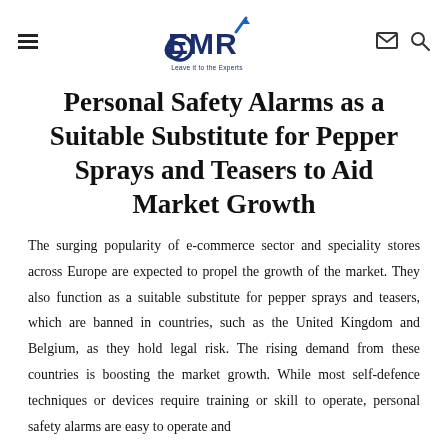EMR — Leave it to the Experts (logo with hamburger menu, envelope, and search icons)
Personal Safety Alarms as a Suitable Substitute for Pepper Sprays and Teasers to Aid Market Growth
The surging popularity of e-commerce sector and speciality stores across Europe are expected to propel the growth of the market. They also function as a suitable substitute for pepper sprays and teasers, which are banned in countries, such as the United Kingdom and Belgium, as they hold legal risk. The rising demand from these countries is boosting the market growth. While most self-defence techniques or devices require training or skill to operate, personal safety alarms are easy to operate and